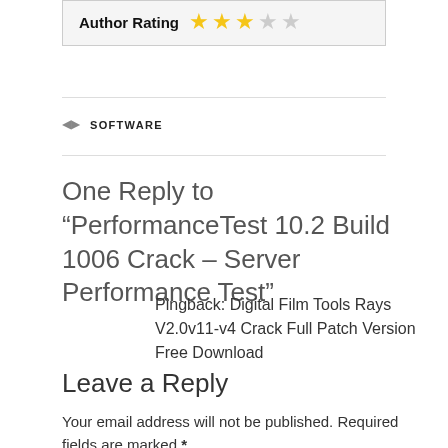Author Rating ★★★☆☆
SOFTWARE
One Reply to “PerformanceTest 10.2 Build 1006 Crack – Server Performance Test”
Pingback: Digital Film Tools Rays V2.0v11-v4 Crack Full Patch Version Free Download
Leave a Reply
Your email address will not be published. Required fields are marked *